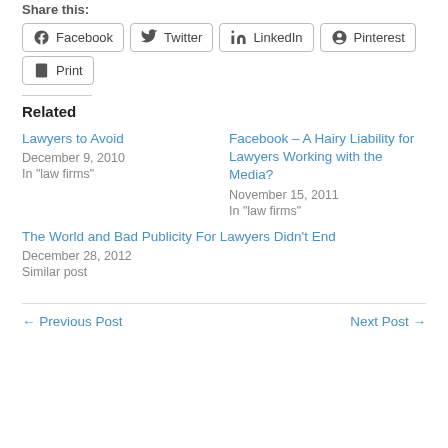Share this:
Facebook
Twitter
LinkedIn
Pinterest
Print
Related
Lawyers to Avoid
December 9, 2010
In "law firms"
Facebook – A Hairy Liability for Lawyers Working with the Media?
November 15, 2011
In "law firms"
The World and Bad Publicity For Lawyers Didn't End
December 28, 2012
Similar post
← Previous Post
Next Post →